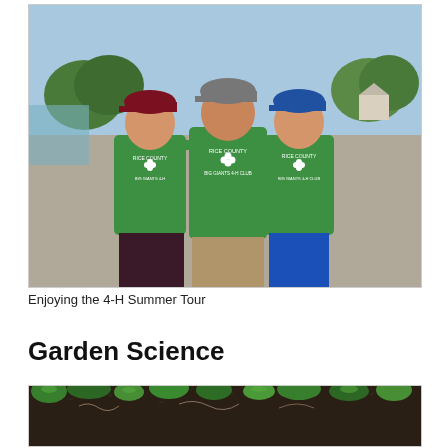[Figure (photo): Three people wearing green Rice County Big Giants 4-H Club t-shirts posing outdoors on a gravel area. The left person wears a maroon baseball cap and dark shorts, the center person wears a gray cap and khaki shorts, and the right person wears a blue cap and blue shorts. Trees and farm buildings are visible in the background.]
Enjoying the 4-H Summer Tour
Garden Science
[Figure (photo): Close-up photo of a garden with green plant leaves and dark soil visible.]